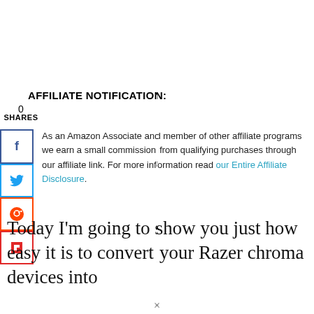AFFILIATE NOTIFICATION:
0
SHARES
As an Amazon Associate and member of other affiliate programs we earn a small commission from qualifying purchases through our affiliate link. For more information read our Entire Affiliate Disclosure.
Today I’m going to show you just how easy it is to convert your Razer chroma devices into
x